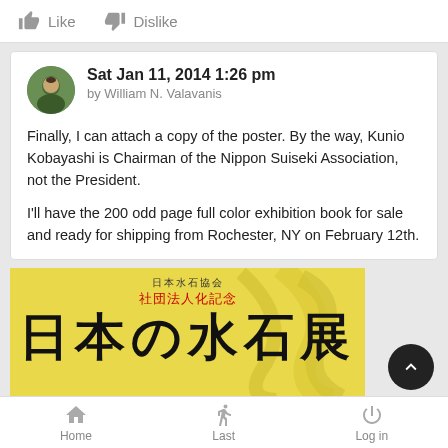Like   Dislike
Sat Jan 11, 2014 1:26 pm
by William N. Valavanis
Finally, I can attach a copy of the poster. By the way, Kunio Kobayashi is Chairman of the Nippon Suiseki Association, not the President.

I'll have the 200 odd page full color exhibition book for sale and ready for shipping from Rochester, NY on February 12th.
[Figure (photo): Yellow exhibition poster with Japanese kanji characters reading 日本水石協会 社団法人化記念 日本の水石展]
Home   Last   Log in